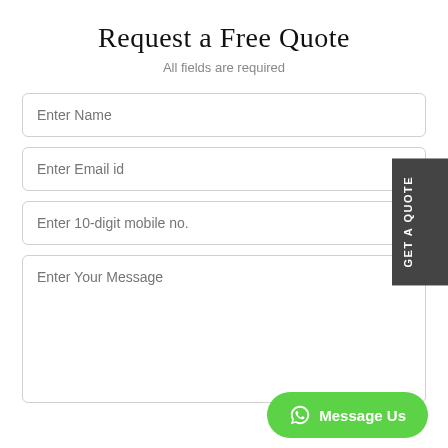Request a Free Quote
All fields are required
Enter Name
Enter Email id
Enter 10-digit mobile no.
Enter Your Message
GET A QUOTE
Message Us